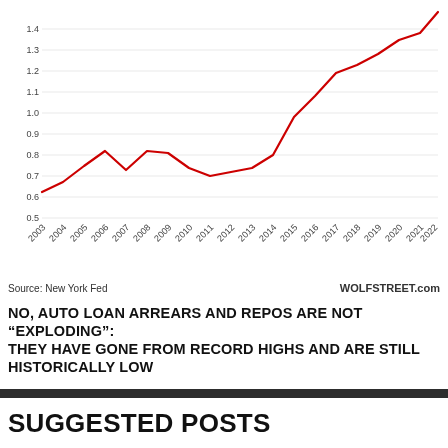[Figure (line-chart): ]
Source: New York Fed    WOLFSTREET.com
NO, AUTO LOAN ARREARS AND REPOS ARE NOT "EXPLODING": THEY HAVE GONE FROM RECORD HIGHS AND ARE STILL HISTORICALLY LOW
SUGGESTED POSTS